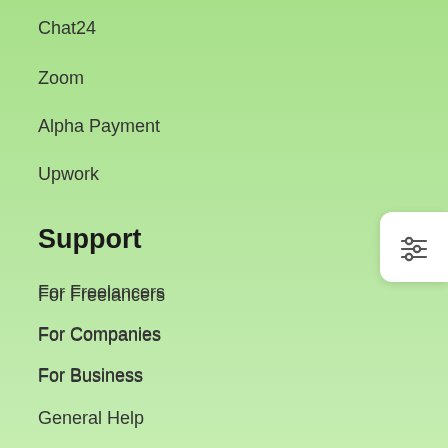Chat24
Zoom
Alpha Payment
Upwork
Support
For Freelancers
For Companies
For Business
General Help
Privacy Policy    Terms and Conditions
© 2018 Copyright, All Rights Reserved by vApp